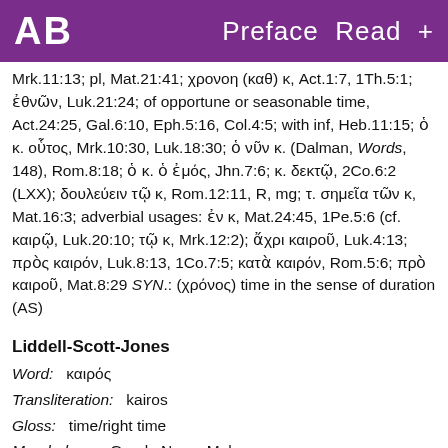AB   Preface Read +
Mrk.11:13; pl, Mat.21:41; χρονοη (καθ) κ, Act.1:7, 1Th.5:1; ἐθνῶν, Luk.21:24; of opportune or seasonable time, Act.24:25, Gal.6:10, Eph.5:16, Col.4:5; with inf, Heb.11:15; ὁ κ. οὗτος, Mrk.10:30, Luk.18:30; ὁ νῦν κ. (Dalman, Words, 148), Rom.8:18; ὁ κ. ὁ ἐμός, Jhn.7:6; κ. δεκτῷ, 2Co.6:2 (LXX); δουλεύειν τῷ κ, Rom.12:11, R, mg; τ. σημεῖα τῶν κ, Mat.16:3; adverbial usages: ἐν κ, Mat.24:45, 1Pe.5:6 (cf. καιρῷ, Luk.20:10; τῷ κ, Mrk.12:2); ἄχρι καιροῦ, Luk.4:13; πρὸς καιρόν, Luk.8:13, 1Co.7:5; κατὰ καιρόν, Rom.5:6; πρὸ καιροῦ, Mat.8:29 SYN.: (χρόνος) time in the sense of duration (AS)
Liddell-Scott-Jones
Word:   καιρός
Transliteration:   kairos
Gloss:   time/right time
Morphology:   Greek, Noun, Male